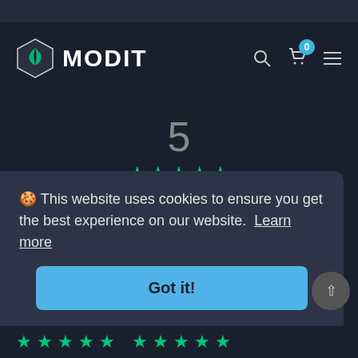[Figure (logo): MODIT logo with hexagon icon and white text]
5
★★★★★
2 reviews
[Figure (bar-chart): Rating distribution]
🍪 This website uses cookies to ensure you get the best experience on our website.  Learn more
Got it!